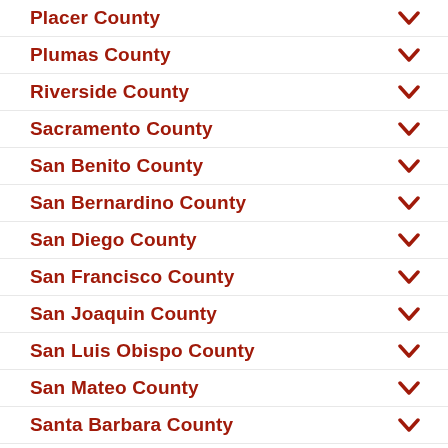Placer County
Plumas County
Riverside County
Sacramento County
San Benito County
San Bernardino County
San Diego County
San Francisco County
San Joaquin County
San Luis Obispo County
San Mateo County
Santa Barbara County
Santa Clara County